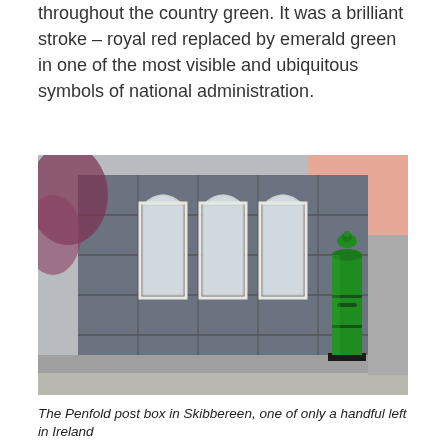throughout the country green. It was a brilliant stroke – royal red replaced by emerald green in one of the most visible and ubiquitous symbols of national administration.
[Figure (photo): A green Penfold pillar post box standing on a pavement in front of a stone building with ornate grey stonework and arched windows. The post box is bright green. Trees with reddish foliage visible on the left, pink building in background.]
The Penfold post box in Skibbereen, one of only a handful left in Ireland